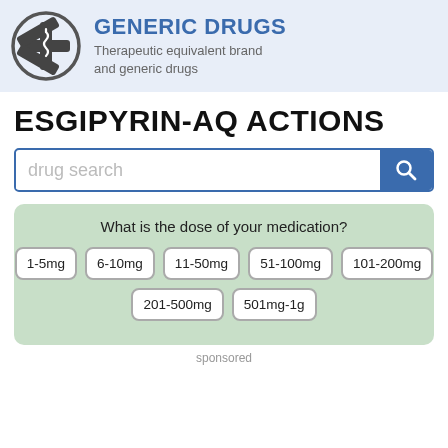[Figure (logo): Generic Drugs logo with medical star of life symbol in a circle, next to bold blue text 'GENERIC DRUGS' and subtitle 'Therapeutic equivalent brand and generic drugs']
ESGIPYRIN-AQ ACTIONS
drug search
What is the dose of your medication?
1-5mg
6-10mg
11-50mg
51-100mg
101-200mg
201-500mg
501mg-1g
sponsored